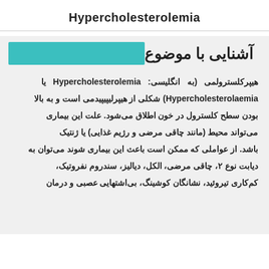Hypercholesterolemia
آشنایی با موضوع
هیپرکلسترولمی (به انگلیسی: Hypercholesterolemia یا Hypercholesterolaemia) شکلی از هیپرلیپیدمی است و به بالا بودن سطح کلسترول در خون اطلاق می‌شود. علت این بیماری می‌تواند محیط (مانند چاقی مرضی و رژیم غذایی) یا ژنتیک باشد. از عواملی که ممکن است باعث این بیماری شوند می‌توان به دیابت نوع ۲، چاقی مرضی، الکل، دیالیز، سندروم نفروتیک، کم‌کاری تیروئید، نشانگان کوشینگ، بی‌اشتهایی عصبی و درمان